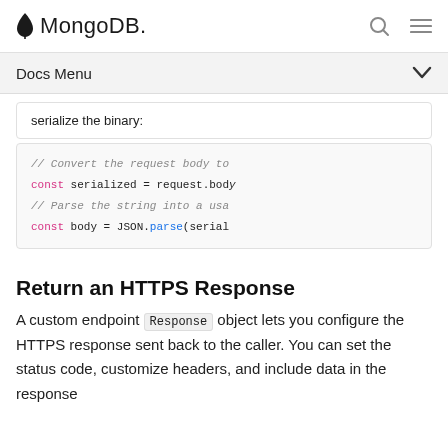MongoDB
Docs Menu
serialize the binary:
[Figure (screenshot): Code block showing: // Convert the request body to
const serialized = request.body
// Parse the string into a usa
const body = JSON.parse(serial]
Return an HTTPS Response
A custom endpoint Response object lets you configure the HTTPS response sent back to the caller. You can set the status code, customize headers, and include data in the response